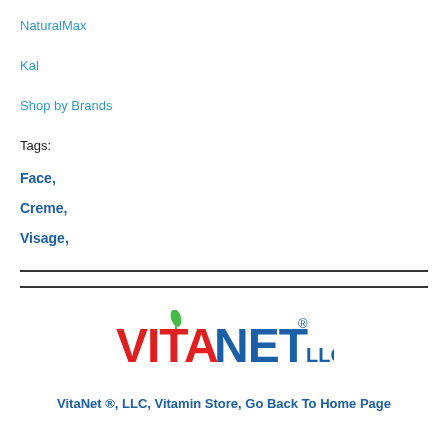NaturalMax
Kal
Shop by Brands
Tags:
Face,
Creme,
Visage,
[Figure (logo): VitaNet LLC logo with red VITA text, blue NET text, and green leaf accent]
VitaNet ®, LLC, Vitamin Store, Go Back To Home Page